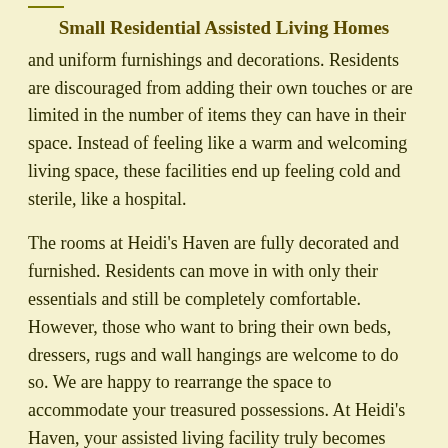Small Residential Assisted Living Homes
and uniform furnishings and decorations. Residents are discouraged from adding their own touches or are limited in the number of items they can have in their space. Instead of feeling like a warm and welcoming living space, these facilities end up feeling cold and sterile, like a hospital.
The rooms at Heidi's Haven are fully decorated and furnished. Residents can move in with only their essentials and still be completely comfortable. However, those who want to bring their own beds, dressers, rugs and wall hangings are welcome to do so. We are happy to rearrange the space to accommodate your treasured possessions. At Heidi's Haven, your assisted living facility truly becomes your home.
Where Can I Find Assisted Living Near Me